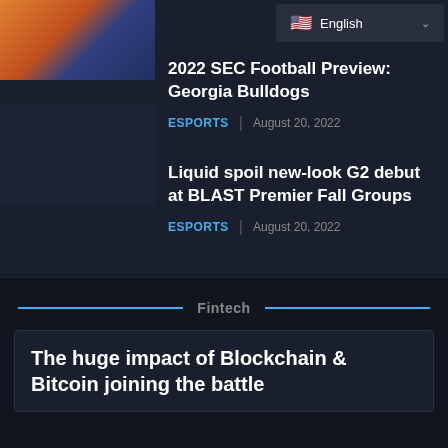[Figure (screenshot): Thumbnail image with orange/blue gradient colors]
[Figure (screenshot): Language selector dropdown showing English with US flag]
2022 SEC Football Preview: Georgia Bulldogs
ESPORTS | August 20, 2022
Liquid spoil new-look G2 debut at BLAST Premier Fall Groups
ESPORTS | August 20, 2022
Fintech
The huge impact of Blockchain & Bitcoin joining the battle